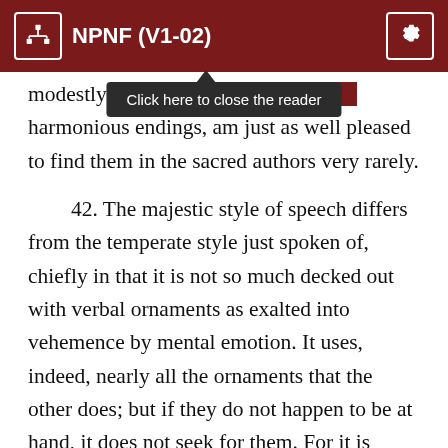NPNF (V1-02)
modestly I one, I should rather choose harmonious endings, am just as well pleased to find them in the sacred authors very rarely.

42. The majestic style of speech differs from the temperate style just spoken of, chiefly in that it is not so much decked out with verbal ornaments as exalted into vehemence by mental emotion. It uses, indeed, nearly all the ornaments that the other does; but if they do not happen to be at hand, it does not seek for them. For it is borne on by its own vehemence; and the force of the thought, not the desire for ornament, makes it seize upon any beauty of expression that comes in its way. It is enough for